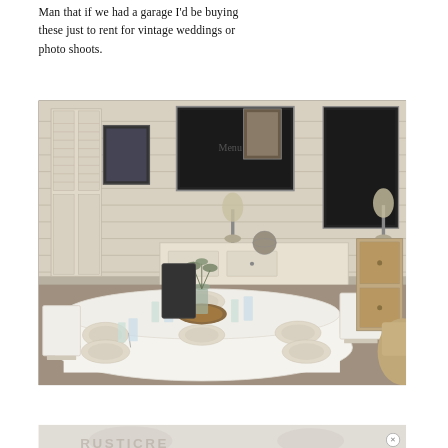Man that if we had a garage I'd be buying these just to rent for vintage weddings or photo shoots.
[Figure (photo): A vintage-styled round dining table set with white tablecloth, plates, glasses, and rustic centerpiece with greenery. Behind the table are white-painted distressed furniture pieces, chalkboard frames, lamps, and old wooden shuttered doors/walls, suggesting a rustic or shabby-chic display or rental showroom.]
[Figure (photo): Partially visible advertisement banner at the bottom of the page, showing a blurred/light image with large text letters partially visible.]